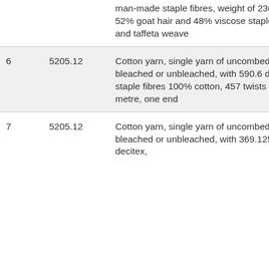|  |  |  |
| --- | --- | --- |
|  |  | man-made staple fibres, weight of 230 g/m², 52% goat hair and 48% viscose staple fibre and taffeta weave |
| 6 | 5205.12 | Cotton yarn, single yarn of uncombed fibres, bleached or unbleached, with 590.6 decitex, staple fibres 100% cotton, 457 twists per metre, one end |
| 7 | 5205.12 | Cotton yarn, single yarn of uncombed fibres, bleached or unbleached, with 369.125 decitex, |